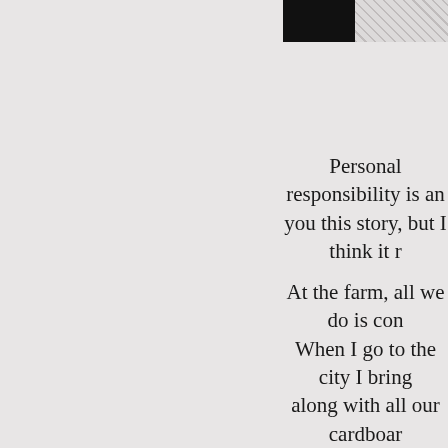[Figure (photo): Partial image at top right: left portion is a solid black rectangle, right portion shows a diamond/crosshatch pattern on a light gray background]
Personal responsibility is an you this story, but I think it r
At the farm, all we do is con When I go to the city I bring along with all our cardboar hustling for a job, sometime an empty truck back when point I let myself off the hoo IN
Subconciously I thought "am my apartment!" But this is a hard. Or because I think my right now cre